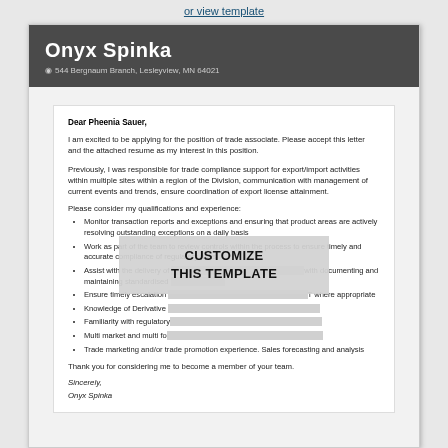or view template
Onyx Spinka
544 Bergnaum Branch, Lesleyview, MN 64021
Dear Pheenia Sauer,
I am excited to be applying for the position of trade associate. Please accept this letter and the attached resume as my interest in this position.
Previously, I was responsible for trade compliance support for export/import activities within multiple sites within a region of the Division, communication with management of current events and trends, ensure coordination of export license attainment.
Please consider my qualifications and experience:
Monitor transaction reports and exceptions and ensuring that product areas are actively resolving outstanding exceptions on a daily basis
Work as part of the team to review controls within the process to ensure timely and accurate compliance of regulatory rules
Assist with the delivery of [partially obscured] with documenting and maintaining standardised [obscured]
Ensure timely escalation [obscured] T where appropriate
Knowledge of Derivative [obscured]
Familiarity with regulatory [obscured]
Multi market and multi fo[obscured]
Trade marketing and/or trade promotion experience. Sales forecasting and analysis
Thank you for considering me to become a member of your team.
Sincerely,
Onyx Spinka
[Figure (other): CUSTOMIZE THIS TEMPLATE overlay button covering part of the letter]